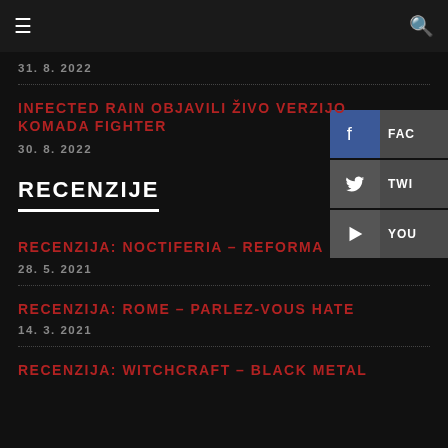≡  🔍
31. 8. 2022
INFECTED RAIN OBJAVILI ŽIVO VERZIJO KOMADA FIGHTER
30. 8. 2022
RECENZIJE
RECENZIJA: NOCTIFERIA – REFORMA
28. 5. 2021
RECENZIJA: ROME – PARLEZ-VOUS HATE
14. 3. 2021
RECENZIJA: WITCHCRAFT – BLACK METAL